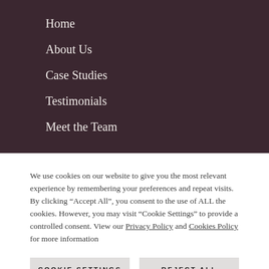Home
About Us
Case Studies
Testimonials
Meet the Team
We use cookies on our website to give you the most relevant experience by remembering your preferences and repeat visits. By clicking “Accept All”, you consent to the use of ALL the cookies. However, you may visit “Cookie Settings” to provide a controlled consent. View our Privacy Policy and Cookies Policy for more information
COOKIE SETTINGS
REJECT ALL
ACCEPT ALL